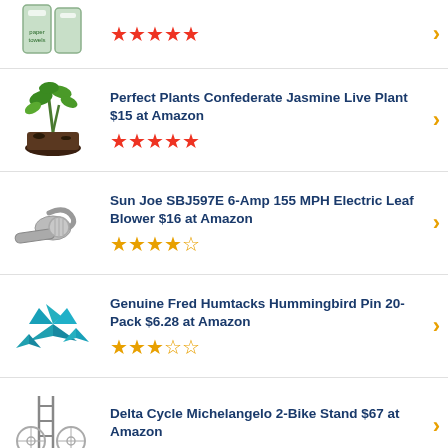Towels $16 at Amazon — 5 red stars
Perfect Plants Confederate Jasmine Live Plant $15 at Amazon — 5 red stars
Sun Joe SBJ597E 6-Amp 155 MPH Electric Leaf Blower $16 at Amazon — 4 orange stars
Genuine Fred Humtacks Hummingbird Pin 20-Pack $6.28 at Amazon — 3 orange stars
Delta Cycle Michelangelo 2-Bike Stand $67 at Amazon